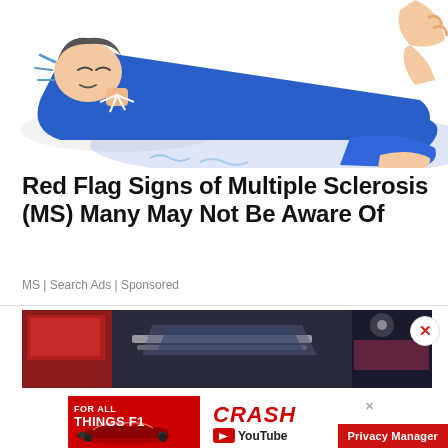[Figure (illustration): Cartoon illustration of a person in a blue suit lying down with a distressed expression, possibly experiencing muscle spasms or neurological symptoms, with wavy lines indicating movement/pain. Another person's hands are visible at the edges.]
Red Flag Signs of Multiple Sclerosis (MS) Many May Not Be Aware Of
MS | Search Ads | Sponsored
[Figure (photo): Photo of cars at what appears to be an auto show, dark background with car roof bars visible, red accents in background.]
[Figure (screenshot): YouTube advertisement banner: left red side reads 'FOR ALL THINGS F1' with a racing car image, right white side shows 'CRASH' in red italic text and a YouTube logo.]
Privacy Manager